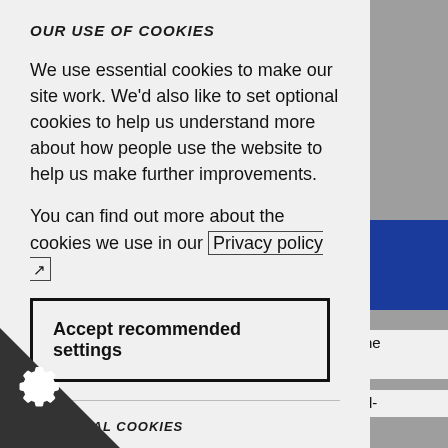OUR USE OF COOKIES
We use essential cookies to make our site work. We'd also like to set optional cookies to help us understand more about how people use the website to help us make further improvements.
You can find out more about the cookies we use in our Privacy policy
Accept recommended settings
ESSENTIAL COOKIES
Essential cookies enable core functionality such as page navigation and access to secure areas.